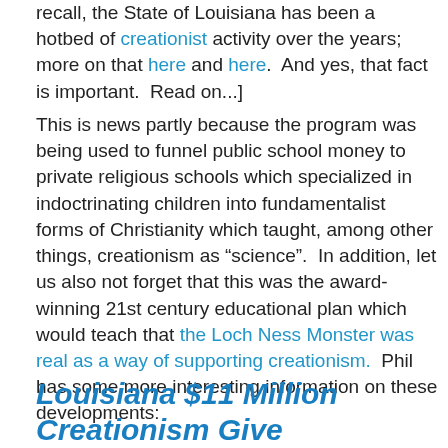recall, the State of Louisiana has been a hotbed of creationist activity over the years; more on that here and here.  And yes, that fact is important.  Read on...]
This is news partly because the program was being used to funnel public school money to private religious schools which specialized in indoctrinating children into fundamentalist forms of Christianity which taught, among other things, creationism as “science”.  In addition, let us also not forget that this was the award-winning 21st century educational plan which would teach that the Loch Ness Monster was real as a way of supporting creationism.  Phil has some more interesting information on these developments:
Louisiana $11 Million Creationism Give